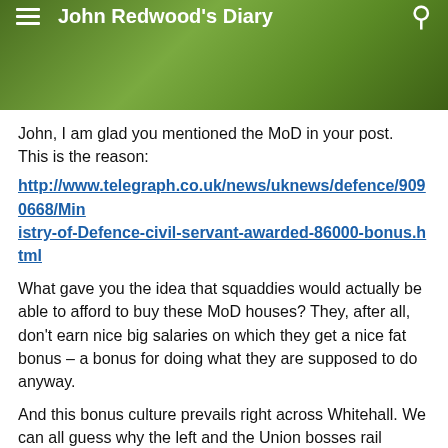John Redwood's Diary
John, I am glad you mentioned the MoD in your post.
This is the reason:
http://www.telegraph.co.uk/news/uknews/defence/9090668/Ministry-of-Defence-civil-servant-awarded-86000-bonus.html
What gave you the idea that squaddies would actually be able to afford to buy these MoD houses? They, after all, don’t earn nice big salaries on which they get a nice fat bonus – a bonus for doing what they are supposed to do anyway.
And this bonus culture prevails right across Whitehall. We can all guess why the left and the Union bosses rail against the bonuses for bankers but not against the bonus culture in Whitehall, can’t we!
What we cannot even guess is why this government, why